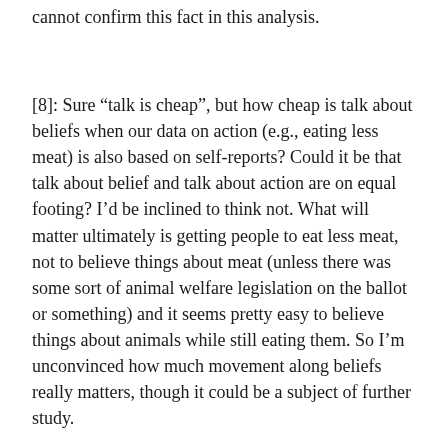cannot confirm this fact in this analysis.
[8]: Sure “talk is cheap”, but how cheap is talk about beliefs when our data on action (e.g., eating less meat) is also based on self-reports? Could it be that talk about belief and talk about action are on equal footing? I’d be inclined to think not. What will matter ultimately is getting people to eat less meat, not to believe things about meat (unless there was some sort of animal welfare legislation on the ballot or something) and it seems pretty easy to believe things about animals while still eating them. So I’m unconvinced how much movement along beliefs really matters, though it could be a subject of further study.